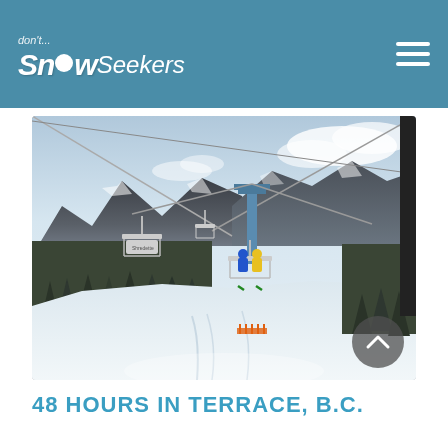don't... SnowSeekers
[Figure (photo): Ski lift chairs over snow-covered mountain slope with evergreen trees and mountain range in background. Two skiers visible on a chairlift. Snow-covered run below.]
48 HOURS IN TERRACE, B.C.